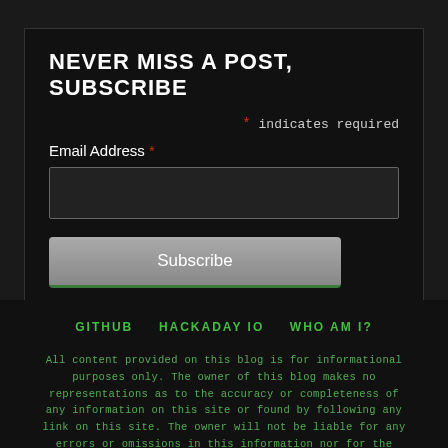NEVER MISS A POST, SUBSCRIBE
* indicates required
Email Address *
Subscribe
GITHUB   HACKADAY IO   WHO AM I?
All content provided on this blog is for informational purposes only. The owner of this blog makes no representations as to the accuracy or completeness of any information on this site or found by following any link on this site. The owner will not be liable for any errors or omissions in this information nor for the stability of this information. The owner will not